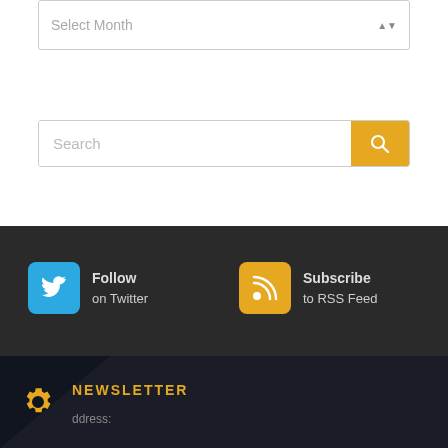Select Month
Search
Follow on Twitter
Subscribe to RSS Feed
NEWSLETTER
ddress: